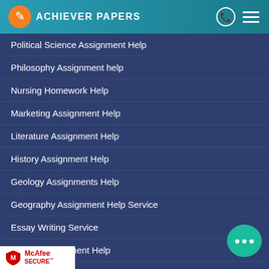ACHIEVER PAPERS
Political Science Assignment Help
Philosophy Assignment help
Nursing Homework Help
Marketing Assignment Help
Literature Assignment Help
History Assignment Help
Geology Assignments Help
Geography Assignment Help Service
Essay Writing Service
English Assignment Help
Do My Homework
Do MY Assignment
Dissertation Writing Service
Writing Service